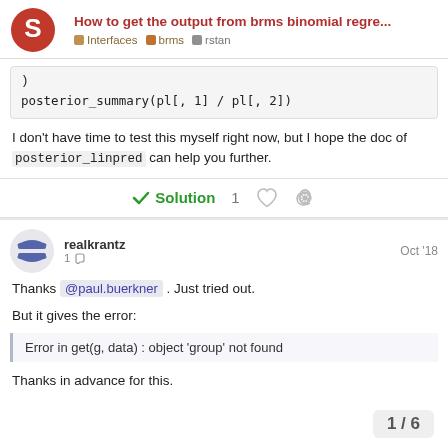How to get the output from brms binomial regre... | Interfaces | brms | rstan
)
posterior_summary(pl[, 1] / pl[, 2])
I don't have time to test this myself right now, but I hope the doc of posterior_linpred can help you further.
✓ Solution  1
realkrantz  1 ✏  Oct '18
Thanks @paul.buerkner . Just tried out.
But it gives the error:
Error in get(g, data) : object 'group' not found
Thanks in advance for this.
1 / 6